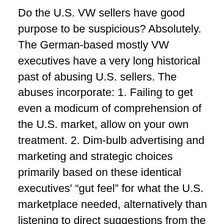Do the U.S. VW sellers have good purpose to be suspicious? Absolutely. The German-based mostly VW executives have a very long historical past of abusing U.S. sellers. The abuses incorporate: 1. Failing to get even a modicum of comprehension of the U.S. market, allow on your own treatment. 2. Dim-bulb advertising and marketing and strategic choices primarily based on these identical executives' “gut feel” for what the U.S. marketplace needed, alternatively than listening to direct suggestions from the people today who essentially realized the marketplace, aka the VW dealers. I could incorporate several a lot more points, like shoving unpronounceable (and nonsensical) names on VW motor vehicles sure for the U.S., dependent on the fundamental assumption designed by individuals similar German VW executives that they understood